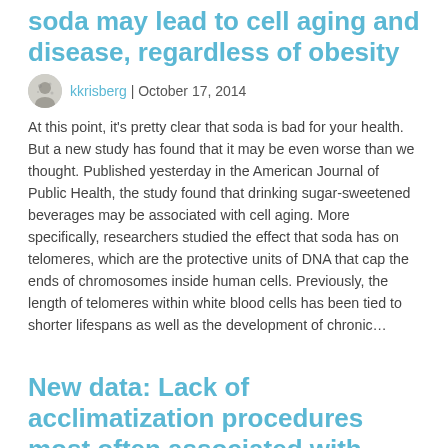soda may lead to cell aging and disease, regardless of obesity
kkrisberg | October 17, 2014
At this point, it's pretty clear that soda is bad for your health. But a new study has found that it may be even worse than we thought. Published yesterday in the American Journal of Public Health, the study found that drinking sugar-sweetened beverages may be associated with cell aging. More specifically, researchers studied the effect that soda has on telomeres, which are the protective units of DNA that cap the ends of chromosomes inside human cells. Previously, the length of telomeres within white blood cells has been tied to shorter lifespans as well as the development of chronic…
New data: Lack of acclimatization procedures most often associated with worker heat deaths
kkrisberg | August 8, 2014